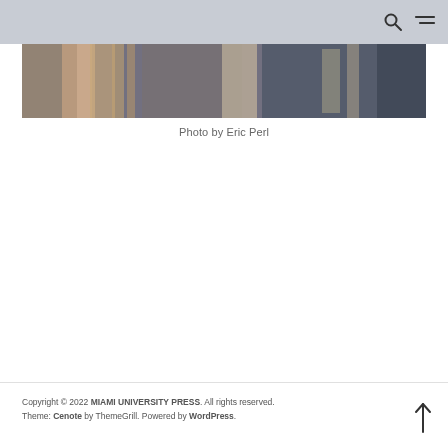[Figure (photo): Bottom portion of a photograph showing decorative rope or textile items with pink/brown tones against a dark background, displayed as a horizontal strip near the top of the page]
Photo by Eric Perl
Copyright © 2022 MIAMI UNIVERSITY PRESS. All rights reserved. Theme: Cenote by ThemeGrill. Powered by WordPress.